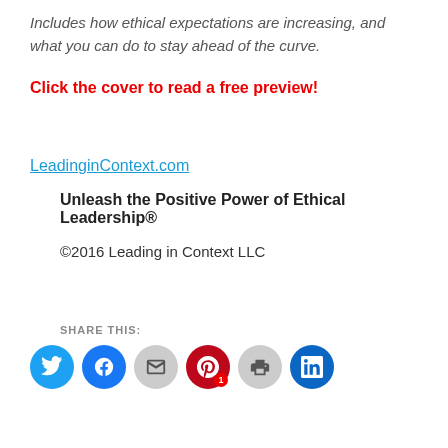Includes how ethical expectations are increasing, and what you can do to stay ahead of the curve.
Click the cover to read a free preview!
LeadinginContext.com
Unleash the Positive Power of Ethical Leadership®
©2016 Leading in Context LLC
SHARE THIS:
[Figure (other): Social share icons: Twitter, Facebook, Email, Pinterest (with badge 1), Print, LinkedIn]